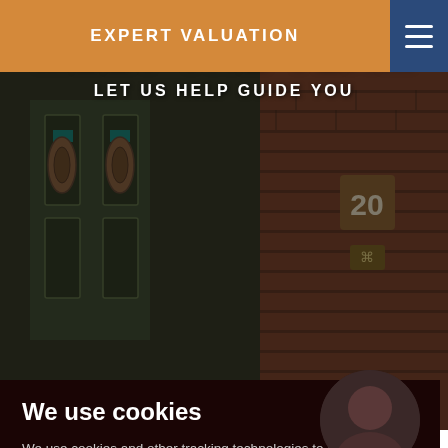EXPERT VALUATION
MEET THE TEAM
LET US HELP GUIDE YOU
[Figure (photo): Background photo of a brick house entrance with a dark green door featuring decorative stained glass panels, and a red card partially visible]
We use cookies
We use cookies and other tracking technologies to improve your browsing experience on our website, to show you personalized content and targeted ads,